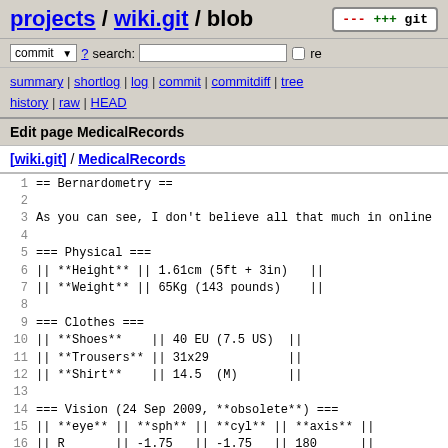projects / wiki.git / blob
commit ? search: re
summary | shortlog | log | commit | commitdiff | tree history | raw | HEAD
Edit page MedicalRecords
[wiki.git] / MedicalRecords
1  == Bernardometry ==
2
3  As you can see, I don't believe all that much in online
4
5  === Physical ===
6  || **Height** || 1.61cm (5ft + 3in)   ||
7  || **Weight** || 65Kg (143 pounds)    ||
8
9  === Clothes ===
10 || **Shoes**     || 40 EU (7.5 US)  ||
11 || **Trousers**  || 31x29           ||
12 || **Shirt**     || 14.5  (M)       ||
13
14 === Vision (24 Sep 2009, **obsolete**) ===
15 || **eye** || **sph** || **cyl** || **axis** ||
16 || R       || -1.75   || -1.75   || 180      ||
17 || L       || -1.75   || -1.50   || 005      ||
18
19